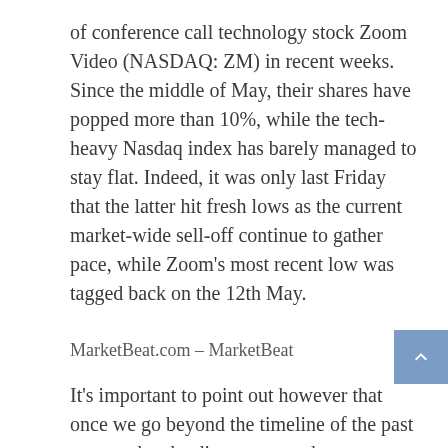of conference call technology stock Zoom Video (NASDAQ: ZM) in recent weeks. Since the middle of May, their shares have popped more than 10%, while the tech-heavy Nasdaq index has barely managed to stay flat. Indeed, it was only last Friday that the latter hit fresh lows as the current market-wide sell-off continue to gather pace, while Zoom's most recent low was tagged back on the 12th May.
MarketBeat.com – MarketBeat
It's important to point out however that once we go beyond the timeline of the past two weeks, the divergence ends pretty quickly. While the Nasdaq has had one of the worst first 5 months of a year on record and is down 30%, Zoom Video is down a full 85% from 2020's all-time high. But are there reasons to think the spread won't get any